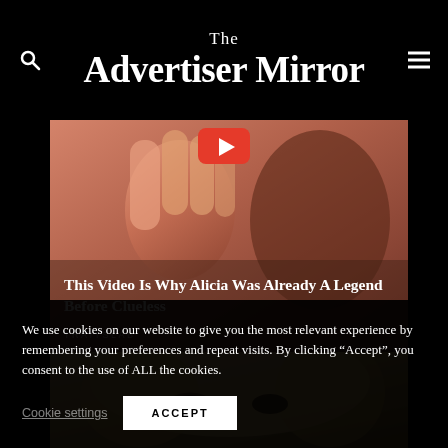The Advertiser Mirror
[Figure (photo): Video thumbnail showing a hand raised and a person in background, with red YouTube-style play button. Article about Alicia being a legend before Clueless.]
This Video Is Why Alicia Was Already A Legend Before Clueless
TRAITSLAB
[Figure (photo): Partial photo of a blonde woman's face with dramatic eye makeup, looking upward.]
We use cookies on our website to give you the most relevant experience by remembering your preferences and repeat visits. By clicking “Accept”, you consent to the use of ALL the cookies.
Cookie settings  ACCEPT